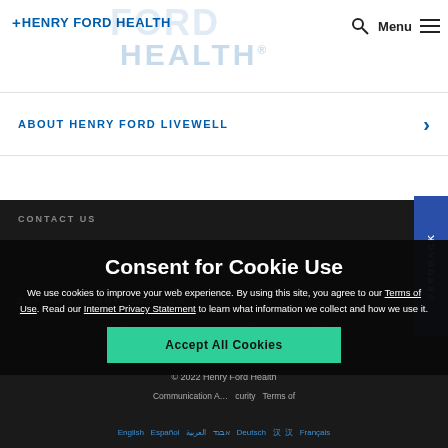[Figure (logo): Henry Ford Health logo with blue cross and text]
Menu
ABOUT HENRY FORD LIVEWELL
CONTACT US
EXPLORE HENRYFORD.COM
Consent for Cookie Use
We use cookies to improve your web experience. By using this site, you agree to our Terms of Use. Read our Internet Privacy Statement to learn what information we collect and how we use it.
© 2022 Henry Ford Health
Communication A...curity    Terms of
English   Español   العربية   ......   Deutsch   汉   汉   Français